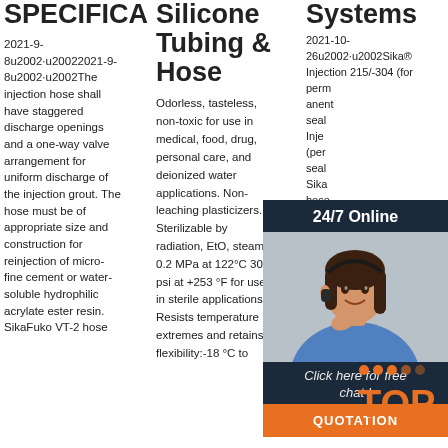SPECIFICA
2021-9-8u2002·u20022021-9-8u2002·u2002The injection hose shall have staggered discharge openings and a one-way valve arrangement for uniform discharge of the injection grout. The hose must be of appropriate size and construction for reinjection of micro-fine cement or water-soluble hydrophilic acrylate ester resin. SikaFuko VT-2 hose
Silicone Tubing & Hose
Odorless, tasteless, non-toxic for use in medical, food, drug, personal care, and deionized water applications. Non-leaching plasticizers. Sterilizable by radiation, EtO, steam – 0.2 MPa at 122°C 30 psi at +253 °F for use in sterile applications. Resists temperature extremes and retains flexibility:-18 °C to
Systems
2021-10-26u2002·u2002Sika® Injection 215/-304 (for permanent sealing) Sika® Injection (permeable sealing) SikaFuko® hose construction as an alternative on waterstops. Very low viscosity long term flexibility, long pot life for optimum penetration, re-injectable for
[Figure (infographic): Customer service overlay widget showing 24/7 Online banner, photo of woman with headset, Click here for free chat text, and QUOTATION button in orange. Also shows decorative dots and TOP text in orange at bottom right.]